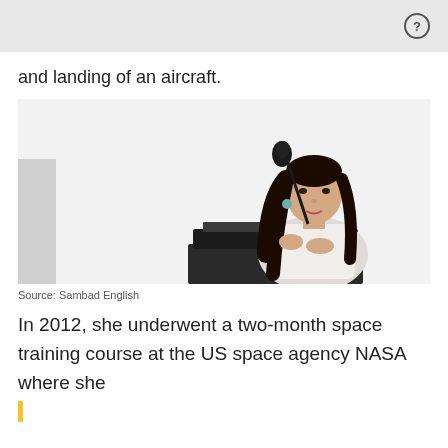and landing of an aircraft.
[Figure (photo): A young woman with long dark hair standing at a podium with a microphone, wearing a light-colored outfit, speaking at an event against a light background.]
Source: Sambad English
In 2012, she underwent a two-month space training course at the US space agency NASA where she